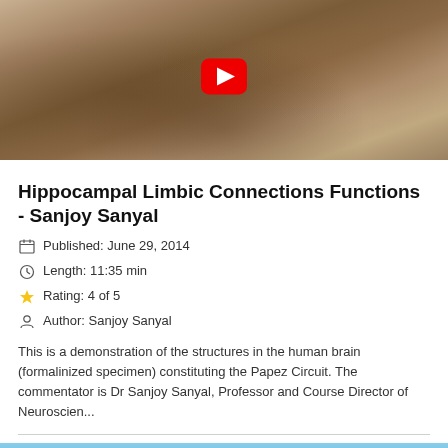[Figure (screenshot): Video thumbnail showing a formalinized human brain specimen with dissection probe, with YouTube play button overlay]
Hippocampal Limbic Connections Functions - Sanjoy Sanyal
Published: June 29, 2014
Length: 11:35 min
Rating: 4 of 5
Author: Sanjoy Sanyal
This is a demonstration of the structures in the human brain (formalinized specimen) constituting the Papez Circuit. The commentator is Dr Sanjoy Sanyal, Professor and Course Director of Neuroscien...
[Figure (photo): Partial thumbnail of tropical outdoor scene with palm trees and blue sky]